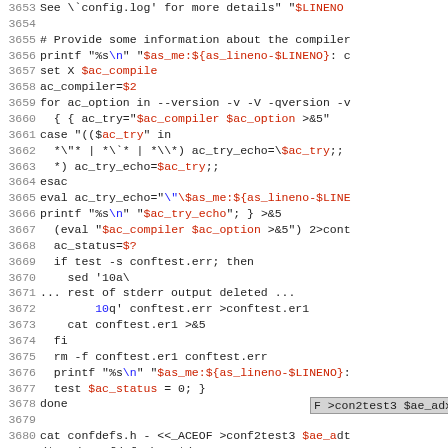Source code / shell script excerpt, lines 3653-3682, showing autoconf configure script code with syntax highlighting. Variables in red/purple, special characters in blue, line numbers in gray.